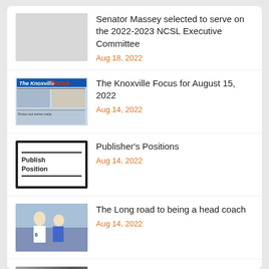Senator Massey selected to serve on the 2022-2023 NCSL Executive Committee
Aug 18, 2022
The Knoxville Focus for August 15, 2022
Aug 14, 2022
Publisher's Positions
Aug 14, 2022
The Long road to being a head coach
Aug 14, 2022
The Fall of Congressman Clifford Davis, II
Aug 14, 2022
Lots happening in Townsend